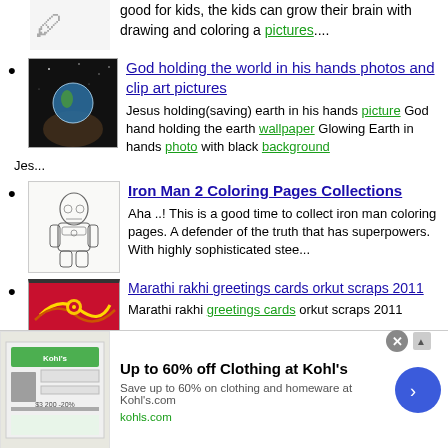good for kids, the kids can grow their brain with drawing and coloring a pictures....
God holding the world in his hands photos and clip art pictures — Jesus holding(saving) earth in his hands picture God hand holding the earth wallpaper Glowing Earth in hands photo with black background Jes...
Iron Man 2 Coloring Pages Collections — Aha ..! This is a good time to collect iron man coloring pages. A defender of the truth that has superpowers. With highly sophisticated stee...
Marathi rakhi greetings cards orkut scraps 2011 — Marathi rakhi greetings cards orkut scraps 2011
[Figure (screenshot): Advertisement banner from Kohl's: Up to 60% off Clothing at Kohl's. Save up to 60% on clothing and homeware at Kohls.com. kohls.com. Blue arrow button.]